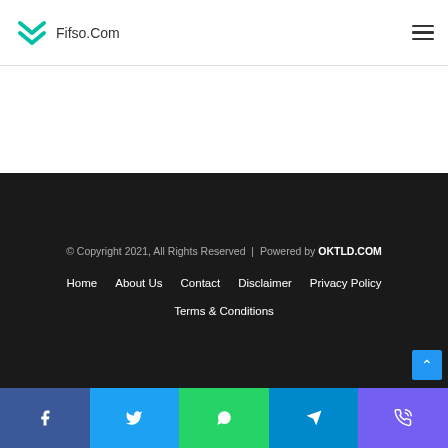Fifso.Com
© Copyright 2021, All Rights Reserved | Powered by OKTLD.COM
Home  About Us  Contact  Disclaimer  Privacy Policy
Terms & Conditions